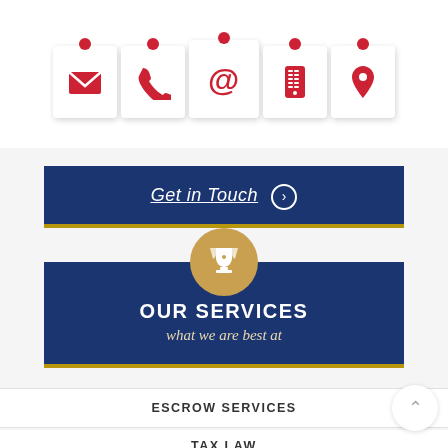[Figure (illustration): Five white note cards pinned with red thumbtacks, each containing a red icon: envelope, telephone, at symbol, mobile phone, and location pin]
Get in Touch ⊙
OUR SERVICES
what we are best at
ESCROW SERVICES
TAX LAW